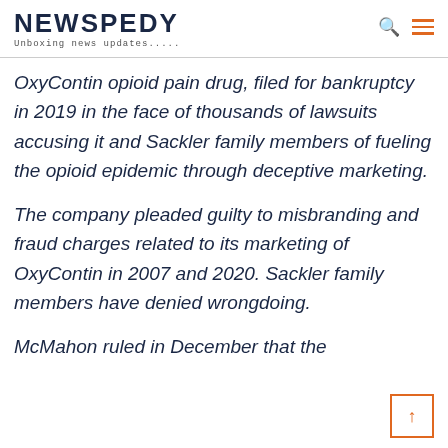NEWSPEDY — Unboxing news updates.....
OxyContin opioid pain drug, filed for bankruptcy in 2019 in the face of thousands of lawsuits accusing it and Sackler family members of fueling the opioid epidemic through deceptive marketing.
The company pleaded guilty to misbranding and fraud charges related to its marketing of OxyContin in 2007 and 2020. Sackler family members have denied wrongdoing.
McMahon ruled in December that the